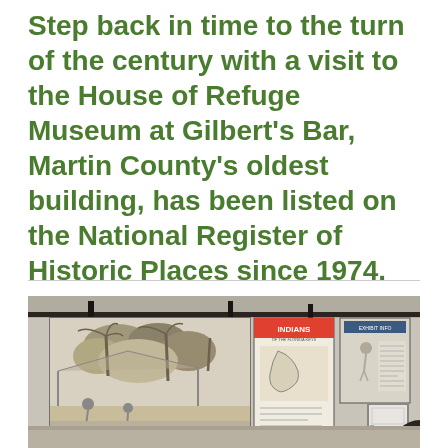Step back in time to the turn of the century with a visit to the House of Refuge Museum at Gilbert's Bar, Martin County's oldest building, has been listed on the National Register of Historic Places since 1974.
[Figure (photo): Interior of the House of Refuge Museum showing exhibits hung on a rail system along the walls, including a large black-and-white illustrated mural depicting a tropical scene with figures and palm trees, a poster labeled 'INDIANS', and additional informational panels. The room has a white door and wooden ceiling visible.]